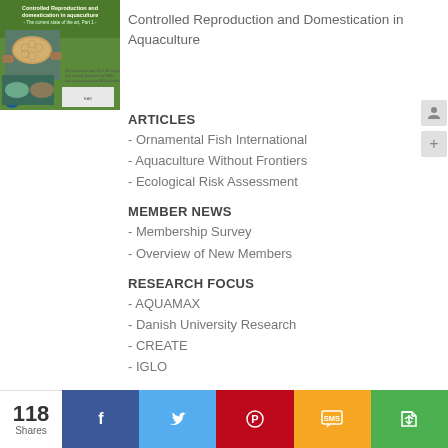[Figure (photo): Book cover image for Controlled Reproduction and Domestication in Aquaculture showing fish]
Controlled Reproduction and Domestication in Aquaculture
ARTICLES
- Ornamental Fish International
- Aquaculture Without Frontiers
- Ecological Risk Assessment
MEMBER NEWS
- Membership Survey
- Overview of New Members
RESEARCH FOCUS
- AQUAMAX
- Danish University Research
- CREATE
- IGLO
NEWS
- EC's New Directive on Aquatic Animal
118 Shares